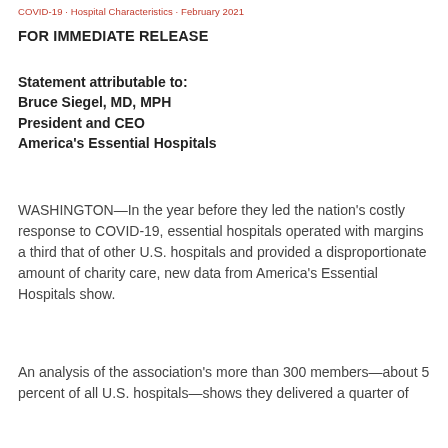COVID-19 · Hospital Characteristics · February 2021
FOR IMMEDIATE RELEASE
Statement attributable to:
Bruce Siegel, MD, MPH
President and CEO
America's Essential Hospitals
WASHINGTON—In the year before they led the nation's costly response to COVID-19, essential hospitals operated with margins a third that of other U.S. hospitals and provided a disproportionate amount of charity care, new data from America's Essential Hospitals show.
An analysis of the association's more than 300 members—about 5 percent of all U.S. hospitals—shows they delivered a quarter of